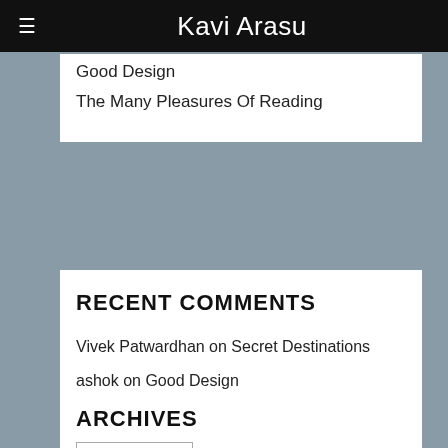Kavi Arasu
Good Design
The Many Pleasures Of Reading
RECENT COMMENTS
Vivek Patwardhan on Secret Destinations
ashok on Good Design
Kavi Arasu on The Many Pleasures Of Reading
Vidyut Shenoy on The Many Pleasures Of Reading
Kavi Arasu on Enough
ARCHIVES